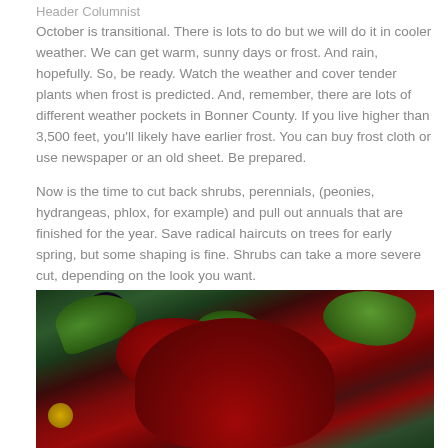Header Columnist
October is transitional. There is lots to do but we will do it in cooler weather. We can get warm, sunny days or frost. And rain, hopefully. So, be ready. Watch the weather and cover tender plants when frost is predicted. And, remember, there are lots of different weather pockets in Bonner County. If you live higher than 3,500 feet, you'll likely have earlier frost. You can buy frost cloth or use newspaper or an old sheet. Be prepared.
Now is the time to cut back shrubs, perennials, (peonies, hydrangeas, phlox, for example) and pull out annuals that are finished for the year. Save radical haircuts on trees for early spring, but some shaping is fine. Shrubs can take a more severe cut, depending on the look you want.
[Figure (photo): Close-up photograph of deep red roses with green leaves in the background, and a dark purple flower visible in the upper left area. A small gold element is visible at the lower left.]